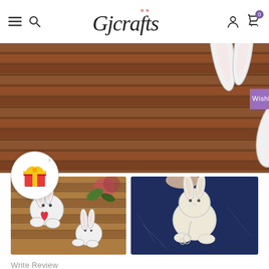Gjcrafts
[Figure (photo): Product banner showing white bunny die-cut metal stamps on bamboo mat background]
[Figure (photo): Thumbnail photo of bunny die cuts on bamboo mat with flowers]
[Figure (photo): Thumbnail photo of bunny die cut on dark blue background]
Write Review
$7.29